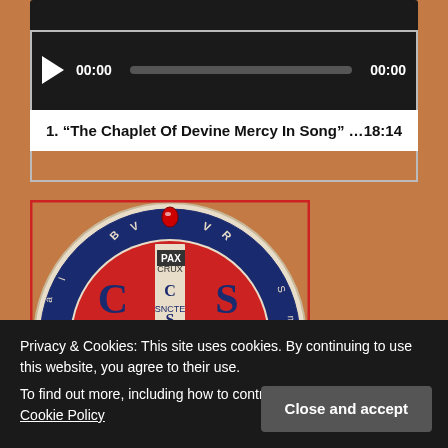[Figure (screenshot): Audio media player widget with dark background, play button, time display showing 00:00 on both sides, and a progress bar]
1. “The Chaplet Of Devine Mercy In Song” …     18:14
[Figure (illustration): Saint Benedict Medal - circular medal with blue and red design featuring CSS·PML cross, letters C,S,P,B in four quadrants, PAX at top, and surrounding letters on the rim]
Privacy & Cookies: This site uses cookies. By continuing to use this website, you agree to their use.
To find out more, including how to control cookies, see here: Cookie Policy
Close and accept